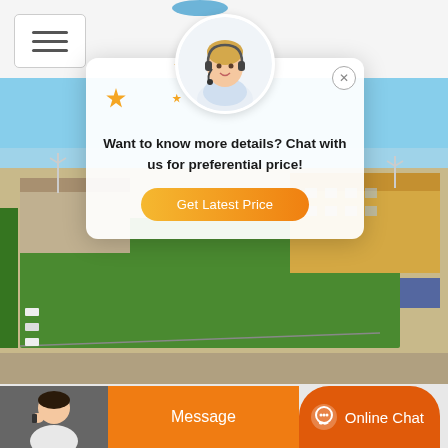[Figure (screenshot): Website screenshot showing an aerial photo of an industrial facility with green lawn, factory buildings, and parking, overlaid with a chat popup widget featuring a customer service agent with headset, stars decoration, promotional text, and a CTA button. Bottom bar shows Message and Online Chat options.]
Want to know more details? Chat with us for preferential price!
Get Latest Price
Message
Online Chat